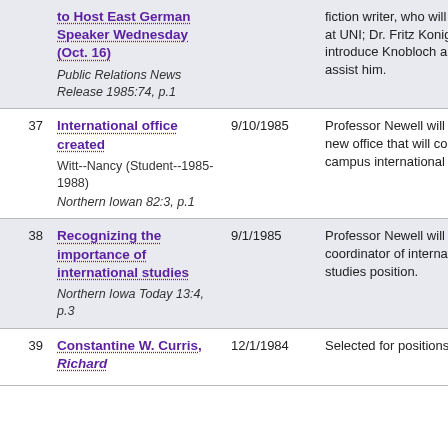| # | Title / Source | Date | Description |
| --- | --- | --- | --- |
|  | to Host East German Speaker Wednesday (Oct. 16)
Public Relations News Release 1985:74, p.1 |  | fiction writer, who will speak at UNI; Dr. Fritz Konig will introduce Knobloch and assist him. |
| 37 | International office created
Witt--Nancy (Student--1985-1988)
Northern Iowan 82:3, p.1 | 9/10/1985 | Professor Newell will head new office that will coordinate campus international affairs. |
| 38 | Recognizing the importance of international studies
Northern Iowa Today 13:4, p.3 | 9/1/1985 | Professor Newell will fill new coordinator of international studies position. |
| 39 | Constantine W. Curris, Richard... | 12/1/1984 | Selected for positions by |